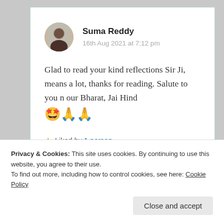Suma Reddy
16th Aug 2021 at 7:12 pm
Glad to read your kind reflections Sir Ji, means a lot, thanks for reading. Salute to you n our Bharat, Jai Hind 🤩🙏🙏
★ Liked by 1 person
Privacy & Cookies: This site uses cookies. By continuing to use this website, you agree to their use.
To find out more, including how to control cookies, see here: Cookie Policy
Close and accept
REPORT THIS AD